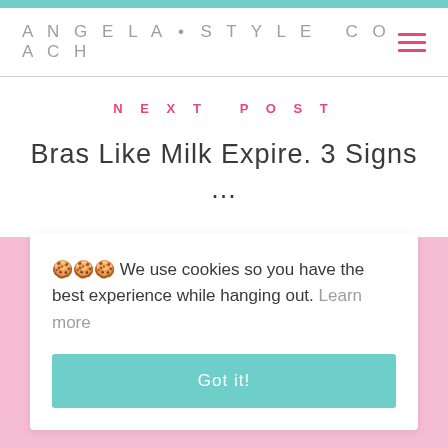ANGELA • STYLE COACH
NEXT POST
Bras Like Milk Expire. 3 Signs ...
🍪🍪🍪 We use cookies so you have the best experience while hanging out. Learn more
Got it!